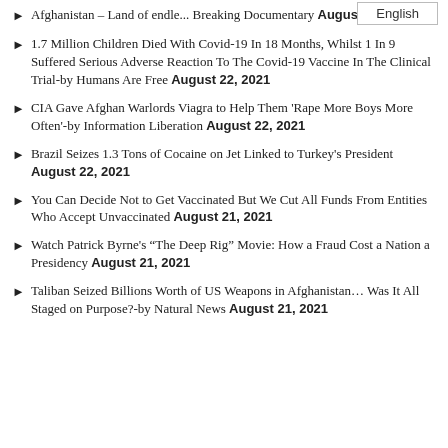Afghanistan – Land of endle... Breaking Documentary August 22, 2021
1.7 Million Children Died With Covid-19 In 18 Months, Whilst 1 In 9 Suffered Serious Adverse Reaction To The Covid-19 Vaccine In The Clinical Trial-by Humans Are Free August 22, 2021
CIA Gave Afghan Warlords Viagra to Help Them 'Rape More Boys More Often'-by Information Liberation August 22, 2021
Brazil Seizes 1.3 Tons of Cocaine on Jet Linked to Turkey's President August 22, 2021
You Can Decide Not to Get Vaccinated But We Cut All Funds From Entities Who Accept Unvaccinated August 21, 2021
Watch Patrick Byrne's "The Deep Rig" Movie: How a Fraud Cost a Nation a Presidency August 21, 2021
Taliban Seized Billions Worth of US Weapons in Afghanistan… Was It All Staged on Purpose?-by Natural News August 21, 2021